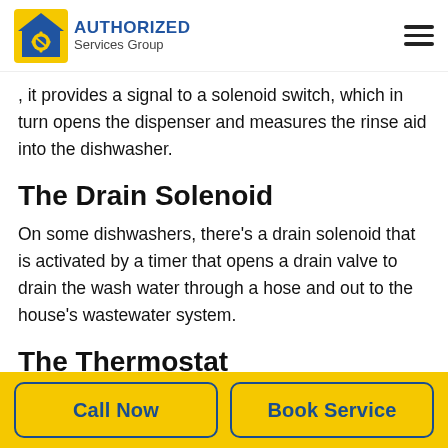AUTHORIZED Services Group
, it provides a signal to a solenoid switch, which in turn opens the dispenser and measures the rinse aid into the dishwasher.
The Drain Solenoid
On some dishwashers, there's a drain solenoid that is activated by a timer that opens a drain valve to drain the wash water through a hose and out to the house's wastewater system.
The Thermostat
Dishwashers usually contain have at least one cylindrical, small thermostats. These thermostats usually have at least 2 wires attached to them. They
Call Now    Book Service